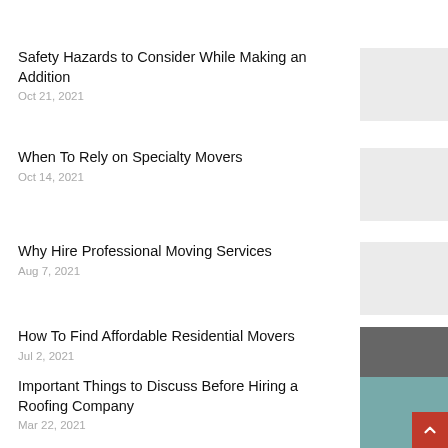Safety Hazards to Consider While Making an Addition
Oct 21, 2021
[Figure (photo): Placeholder/grey image for Safety Hazards article]
When To Rely on Specialty Movers
Oct 14, 2021
[Figure (photo): Placeholder/grey image for Specialty Movers article]
Why Hire Professional Moving Services
Aug 7, 2021
[Figure (photo): Placeholder/grey image for Professional Moving Services article]
How To Find Affordable Residential Movers
Jul 2, 2021
[Figure (photo): Photo of family with moving boxes in front of house]
Important Things to Discuss Before Hiring a Roofing Company
Mar 22, 2021
[Figure (photo): Photo of roofers working on a rooftop against blue sky]